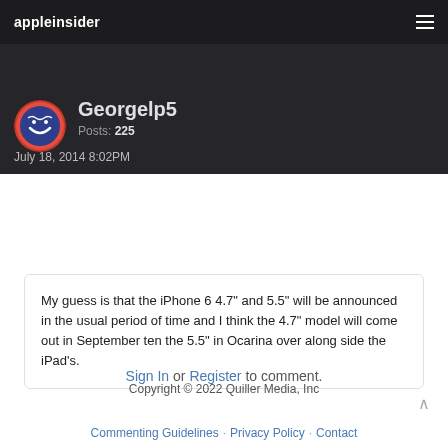appleinsider
Georgelp5
Posts: 225
July 18, 2014 8:02PM
My guess is that the iPhone 6 4.7" and 5.5" will be announced in the usual period of time and I think the 4.7" model will come out in September ten the 5.5" in Ocarina over along side the iPad's.
« 1 2 3 »
Sign In or Register to comment.
Copyright © 2022 Quiller Media, Inc
Commenting Guidelines · Privacy Policy · Contact